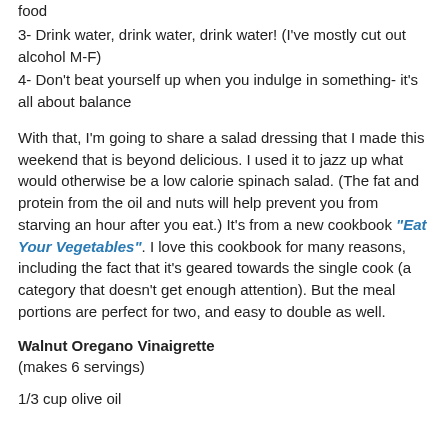food
3- Drink water, drink water, drink water! (I've mostly cut out alcohol M-F)
4- Don't beat yourself up when you indulge in something- it's all about balance
With that, I'm going to share a salad dressing that I made this weekend that is beyond delicious. I used it to jazz up what would otherwise be a low calorie spinach salad. (The fat and protein from the oil and nuts will help prevent you from starving an hour after you eat.) It's from a new cookbook "Eat Your Vegetables". I love this cookbook for many reasons, including the fact that it's geared towards the single cook (a category that doesn't get enough attention). But the meal portions are perfect for two, and easy to double as well.
Walnut Oregano Vinaigrette
(makes 6 servings)
1/3 cup olive oil